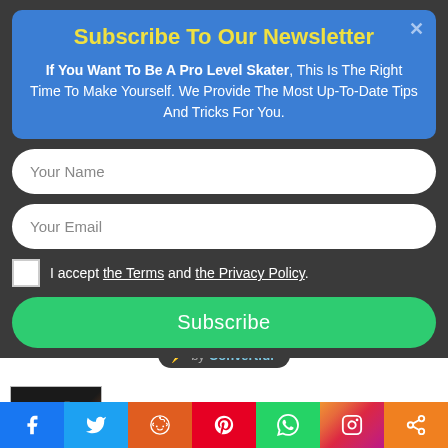Subscribe To Our Newsletter
If You Want To Be A Pro Level Skater, This Is The Right Time To Make Yourself. We Provide The Most Up-To-Date Tips And Tricks For You.
Your Name
Your Email
I accept the Terms and the Privacy Policy.
Subscribe
⚡ by Convertful
The Top Cheap electric skateboard under $100 in 2022
[Figure (screenshot): Electric skateboard product thumbnail image in dark tones with orange accent]
[Figure (infographic): Social media sharing bar with Facebook, Twitter, Reddit, Pinterest, WhatsApp, Instagram, and share icons]